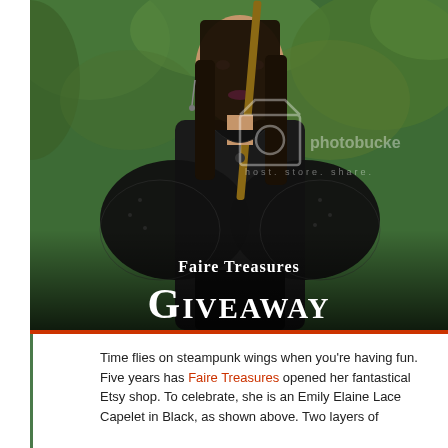[Figure (photo): A woman in gothic/steampunk attire wearing a black lace capelet, holding a wooden staff, photographed outdoors with greenery in the background. Photobucket watermark visible. Overlaid text reads 'Faire Treasures' and 'Giveaway' in decorative white fonts.]
Time flies on steampunk wings when you're having fun. Five years has Faire Treasures opened her fantastical Etsy shop. To celebrate, she is an Emily Elaine Lace Capelet in Black, as shown above. Two layers of